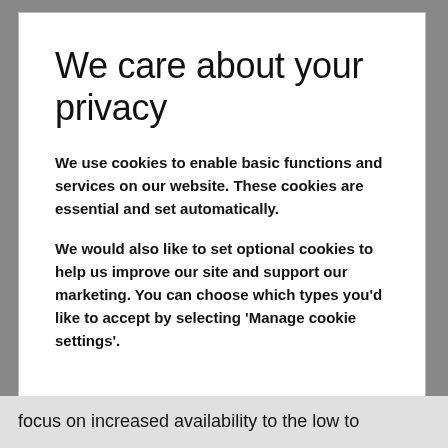We care about your privacy
We use cookies to enable basic functions and services on our website. These cookies are essential and set automatically.
We would also like to set optional cookies to help us improve our site and support our marketing. You can choose which types you'd like to accept by selecting 'Manage cookie settings'.
focus on increased availability to the low to